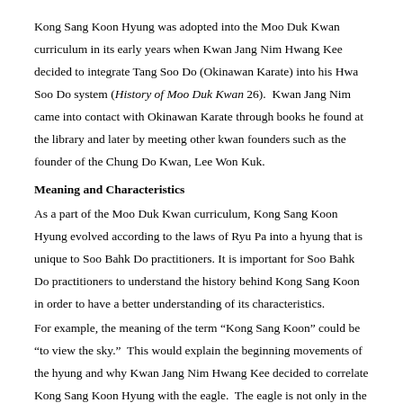Kong Sang Koon Hyung was adopted into the Moo Duk Kwan curriculum in its early years when Kwan Jang Nim Hwang Kee decided to integrate Tang Soo Do (Okinawan Karate) into his Hwa Soo Do system (History of Moo Duk Kwan 26). Kwan Jang Nim came into contact with Okinawan Karate through books he found at the library and later by meeting other kwan founders such as the founder of the Chung Do Kwan, Lee Won Kuk.
Meaning and Characteristics
As a part of the Moo Duk Kwan curriculum, Kong Sang Koon Hyung evolved according to the laws of Ryu Pa into a hyung that is unique to Soo Bahk Do practitioners. It is important for Soo Bahk Do practitioners to understand the history behind Kong Sang Koon in order to have a better understanding of its characteristics.
For example, the meaning of the term “Kong Sang Koon” could be “to view the sky.” This would explain the beginning movements of the hyung and why Kwan Jang Nim Hwang Kee decided to correlate Kong Sang Koon Hyung with the eagle. The eagle is not only in the sky, but has excellent vision. By “viewing the sky” and examining the eagle, one can get a better understanding of the characteristics and energy of Kong Sang Koon Hyung.
...of the characteristics of Kong Sang Koon Hyung and the history behind the...